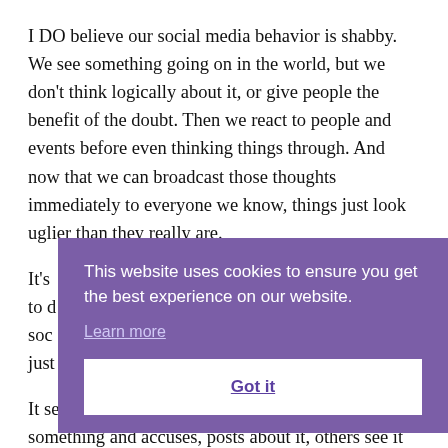I DO believe our social media behavior is shabby. We see something going on in the world, but we don't think logically about it, or give people the benefit of the doubt. Then we react to people and events before even thinking things through. And now that we can broadcast those thoughts immediately to everyone we know, things just look uglier than they really are.
It's [partially obscured by cookie overlay] to d[o] soc[ial media] just[...]
[Figure (other): Cookie consent overlay banner with purple background. Text: 'This website uses cookies to ensure you get the best experience on our website.' with 'Learn more' link and 'Got it' button.]
It se[ems like someone sees] something and accuses, posts about it, others see it and